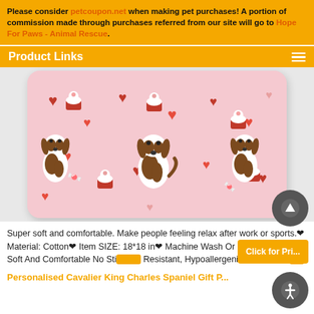Please consider petcoupon.net when making pet purchases! A portion of commission made through purchases referred from our site will go to Hope For Paws - Animal Rescue.
Product Links
[Figure (photo): A rectangular decorative pillow with a pink background pattern featuring Cavalier King Charles Spaniel dogs, red and pink hearts, and cupcakes in a repeating pattern.]
Super soft and comfortable. Make people feeling relax after work or sports.❤ Material: Cotton❤ Item SIZE: 18*18 in❤ Machine Wash Or Hand Wash.❤ Soft And Comfortable No Sti... Resistant, Hypoallergenic, And Resist...
Personalised Cavalier King Charles Spaniel Gift P...